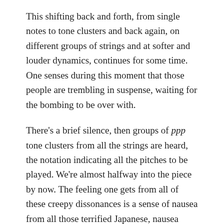This shifting back and forth, from single notes to tone clusters and back again, on different groups of strings and at softer and louder dynamics, continues for some time. One senses during this moment that those people are trembling in suspense, waiting for the bombing to be over with.
There's a brief silence, then groups of ppp tone clusters from all the strings are heard, the notation indicating all the pitches to be played. We're almost halfway into the piece by now. The feeling one gets from all of these creepy dissonances is a sense of nausea from all those terrified Japanese, nausea from their despair.
Next, a fortissimo cluster chord is heard on the ten violas, notes ranging from about an F (above middle C)